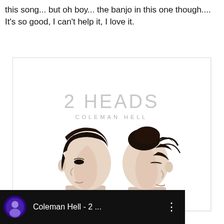this song... but oh boy... the banjo in this one though.... It's so good, I can't help it, I love it.
[Figure (illustration): Album cover for '2 Heads' by Coleman Hell. White background with large light gray text '2 HEADS' and smaller 'COLEMAN HELL' below it. Two illustrated figures shown from shoulders up in profile facing away from each other — a short-haired person on the left and a person with hair in an updo on the right, both rendered in muted skin tones.]
[Figure (screenshot): Dark video player bar showing a circular avatar with a person's face against a dark/purple background, text 'Coleman Hell - 2 ...' in white, and a vertical three-dot menu icon on the right.]